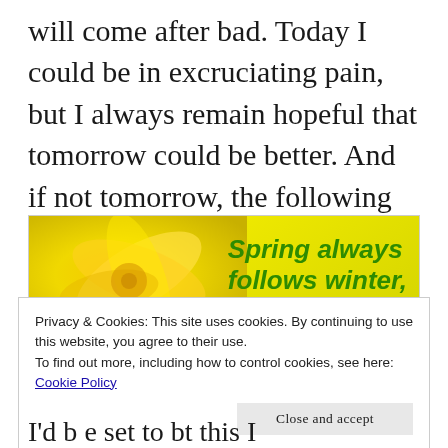will come after bad. Today I could be in excruciating pain, but I always remain hopeful that tomorrow could be better. And if not tomorrow, the following day. Or maybe the day after. I stay optimistic about it. I need to.
[Figure (photo): Yellow flower/daffodil close-up on left half; green italic text on right reading 'Spring always follows winter,']
Privacy & Cookies: This site uses cookies. By continuing to use this website, you agree to their use.
To find out more, including how to control cookies, see here:
Cookie Policy

Close and accept
I'd be set to b t this I